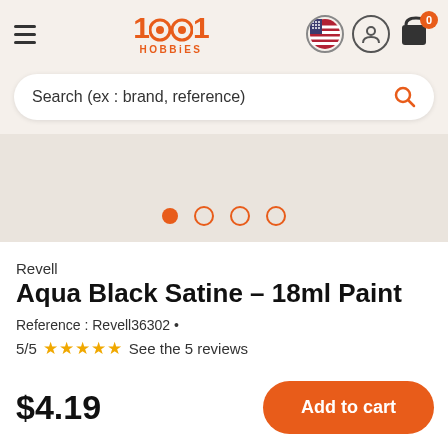1001 HOBBIES
Search (ex : brand, reference)
[Figure (other): Product image area with carousel dots (1 active, 3 inactive)]
Revell
Aqua Black Satine – 18ml Paint
Reference : Revell36302 •
5/5 ★★★★★ See the 5 reviews
$4.19
Add to cart